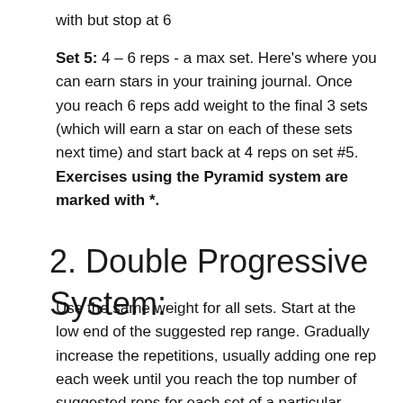with but stop at 6
Set 5: 4 – 6 reps - a max set. Here's where you can earn stars in your training journal. Once you reach 6 reps add weight to the final 3 sets (which will earn a star on each of these sets next time) and start back at 4 reps on set #5. Exercises using the Pyramid system are marked with *.
2. Double Progressive System:
Use the same weight for all sets. Start at the low end of the suggested rep range. Gradually increase the repetitions, usually adding one rep each week until you reach the top number of suggested reps for each set of a particular exercise. Then add weight and start over at the lower end of the rep scheme. Exercises where you